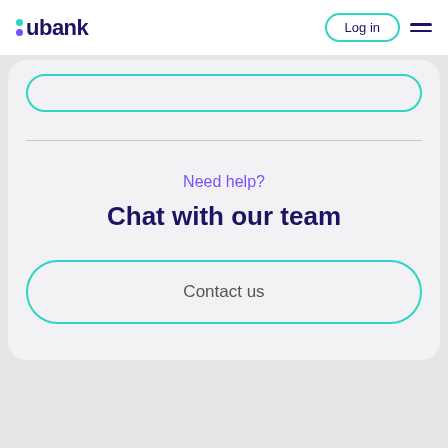ubank — Log in
Need help?
Chat with our team
Contact us